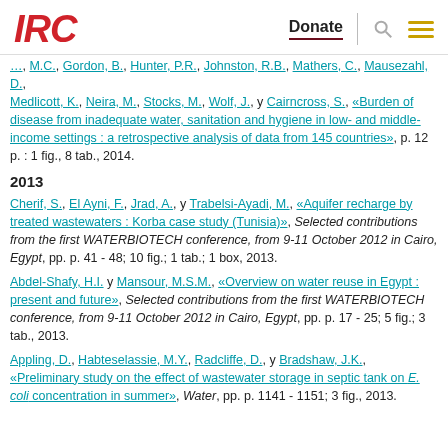IRC | Donate
M.C., Gordon, B., Hunter, P.R., Johnston, R.B., Mathers, C., Mausezahl, D., Medlicott, K., Neira, M., Stocks, M., Wolf, J., y Cairncross, S., «Burden of disease from inadequate water, sanitation and hygiene in low- and middle-income settings : a retrospective analysis of data from 145 countries», p. 12 p. : 1 fig., 8 tab., 2014.
2013
Cherif, S., El Ayni, F., Jrad, A., y Trabelsi-Ayadi, M., «Aquifer recharge by treated wastewaters : Korba case study (Tunisia)», Selected contributions from the first WATERBIOTECH conference, from 9-11 October 2012 in Cairo, Egypt, pp. p. 41 - 48; 10 fig.; 1 tab.; 1 box, 2013.
Abdel-Shafy, H.I. y Mansour, M.S.M., «Overview on water reuse in Egypt : present and future», Selected contributions from the first WATERBIOTECH conference, from 9-11 October 2012 in Cairo, Egypt, pp. p. 17 - 25; 5 fig.; 3 tab., 2013.
Appling, D., Habteselassie, M.Y., Radcliffe, D., y Bradshaw, J.K., «Preliminary study on the effect of wastewater storage in septic tank on E. coli concentration in summer», Water, pp. p. 1141 - 1151; 3 fig., 2013.